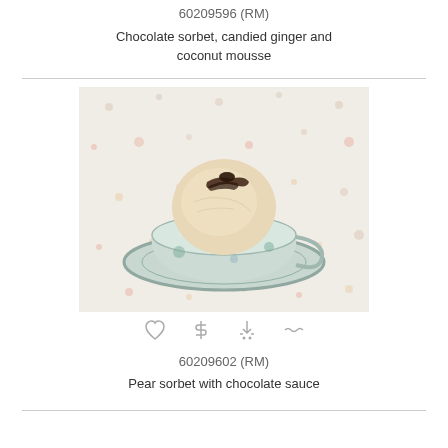60209596 (RM)
Chocolate sorbet, candied ginger and coconut mousse
[Figure (photo): A scoop of sorbet or mousse in a floral china teacup on a saucer, placed on a floral tablecloth, with chocolate sauce drizzled on top]
60209602 (RM)
Pear sorbet with chocolate sauce